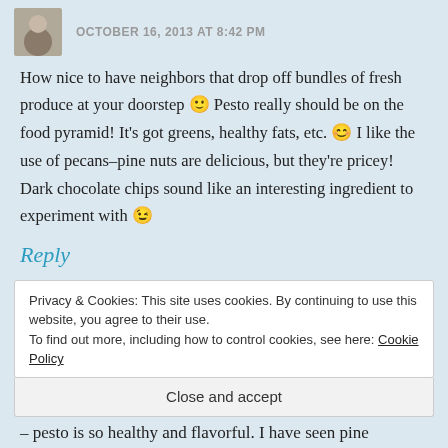OCTOBER 16, 2013 AT 8:42 PM
How nice to have neighbors that drop off bundles of fresh produce at your doorstep 🙂 Pesto really should be on the food pyramid! It's got greens, healthy fats, etc. 😊 I like the use of pecans–pine nuts are delicious, but they're pricey! Dark chocolate chips sound like an interesting ingredient to experiment with 😉
Reply
Privacy & Cookies: This site uses cookies. By continuing to use this website, you agree to their use.
To find out more, including how to control cookies, see here: Cookie Policy
Close and accept
– pesto is so healthy and flavorful. I have seen pine